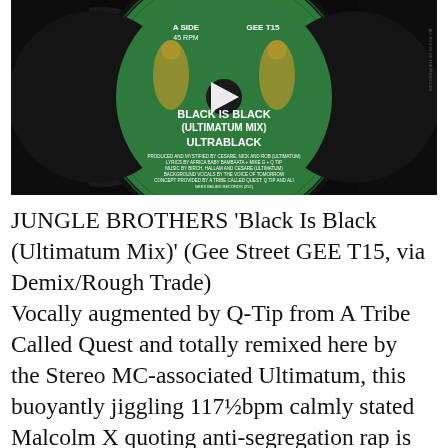[Figure (photo): A photo of a vinyl record label for 'Black Is Black (Ultimatum Mix)' by Ultrablack on Gee Street. The green label reads 'A SIDE 45 RPM', 'GEE T15', 'BLACK IS BLACK (ULTIMATUM MIX)', 'ULTRABLACK', with production credits. A play button triangle overlay is visible in the center.]
JUNGLE BROTHERS ‘Black Is Black (Ultimatum Mix)’ (Gee Street GEE T15, via Demix/Rough Trade)
Vocally augmented by Q-Tip from A Tribe Called Quest and totally remixed here by the Stereo MC-associated Ultimatum, this buoyantly jiggling 117½bpm calmly stated Malcolm X quoting anti-segregation rap is followed by the more sparsely bubbling vibes prodded jazzy 0-117½bpm ‘Ultrablack’ version, and double AA-side flipped by DJ Soul Shock’s